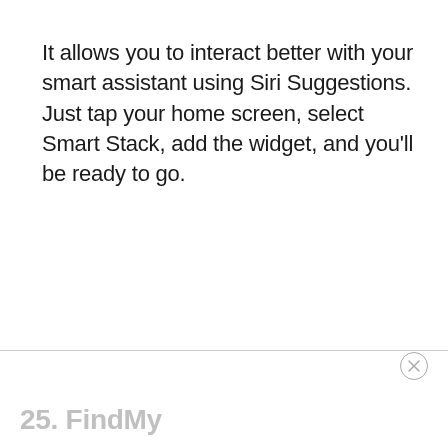It allows you to interact better with your smart assistant using Siri Suggestions. Just tap your home screen, select Smart Stack, add the widget, and you'll be ready to go.
25. FindMy